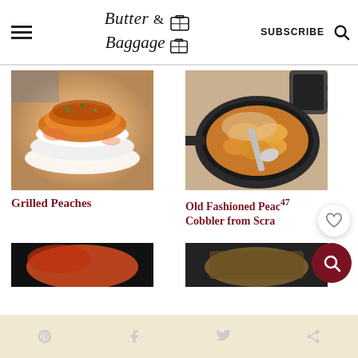Butter & Baggage — SUBSCRIBE
[Figure (photo): Stack of grilled peaches with sauce and herbs on white dishes]
[Figure (photo): Old fashioned peach cobbler in a cast iron skillet with a spoon]
Grilled Peaches
Old Fashioned Peach Cobbler from Scratch
[Figure (photo): Partial view of another food photo (bottom left)]
[Figure (photo): Partial view of another food photo (bottom right)]
Social share icons: Pinterest, Facebook, Twitter, Share